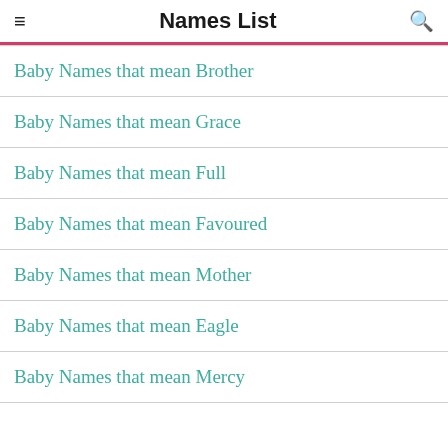Names List
Baby Names that mean Brother
Baby Names that mean Grace
Baby Names that mean Full
Baby Names that mean Favoured
Baby Names that mean Mother
Baby Names that mean Eagle
Baby Names that mean Mercy